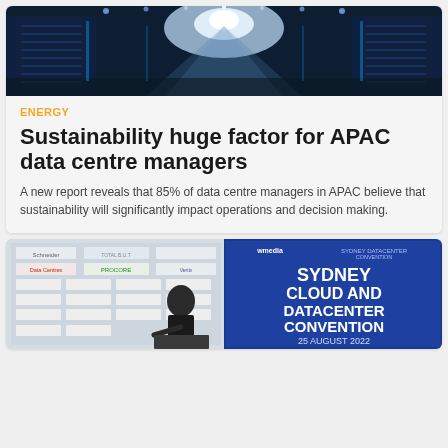[Figure (photo): Data centre corridor with bright light at the end, dark blue tones]
ENERGY
Sustainability huge factor for APAC data centre managers
A new report reveals that 85% of data centre managers in APAC believe that sustainability will significantly impact operations and decision making.
[Figure (photo): Sydney Cloud and Datacenter Convention, 25 August 2022, presenter at podium with sponsor logos backdrop]